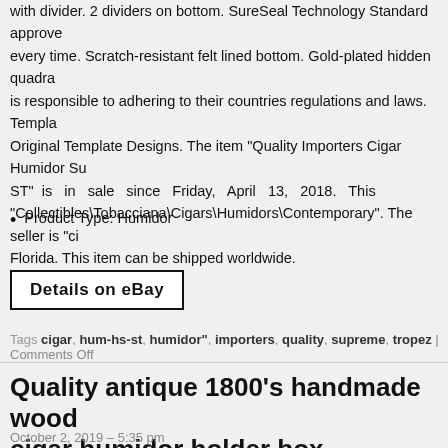with divider. 2 dividers on bottom. SureSeal Technology Standard approve every time. Scratch-resistant felt lined bottom. Gold-plated hidden quadra is responsible to adhering to their countries regulations and laws. Templa Original Template Designs. The item "Quality Importers Cigar Humidor Su ST" is in sale since Friday, April 13, 2018. This "Collectibles\Tobacciana\Cigars\Humidors\Contemporary". The seller is "ci Florida. This item can be shipped worldwide.
Product Type: Humidor
Details on eBay
Tags cigar, hum-hs-st, humidor", importers, quality, supreme, tropez | Comments Off
Quality antique 1800's handmade wood cigar humidor holder box
October 2, 2019 – 5:35 pm
[Figure (photo): Photo of antique wood cigar humidor box]